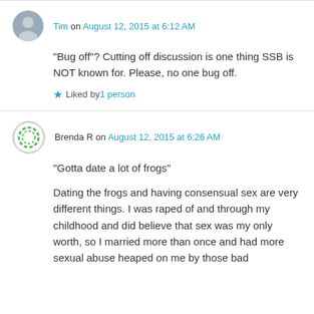Tim on August 12, 2015 at 6:12 AM
“Bug off”? Cutting off discussion is one thing SSB is NOT known for. Please, no one bug off.
Liked by 1 person
Brenda R on August 12, 2015 at 6:26 AM
“Gotta date a lot of frogs”
Dating the frogs and having consensual sex are very different things. I was raped of and through my childhood and did believe that sex was my only worth, so I married more than once and had more sexual abuse heaped on me by those bad